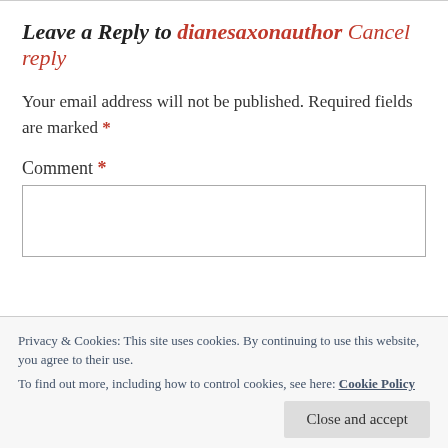Leave a Reply to dianesaxonauthor Cancel reply
Your email address will not be published. Required fields are marked *
Comment *
Privacy & Cookies: This site uses cookies. By continuing to use this website, you agree to their use. To find out more, including how to control cookies, see here: Cookie Policy
Close and accept